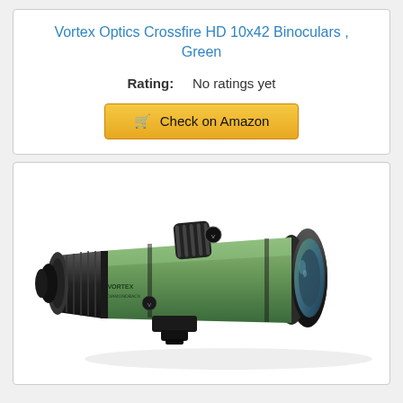Vortex Optics Crossfire HD 10x42 Binoculars , Green
Rating: No ratings yet
Check on Amazon
[Figure (photo): Green and black Vortex spotting scope angled diagonally, showing objective lens, focus knob, and mounting bracket on white background]